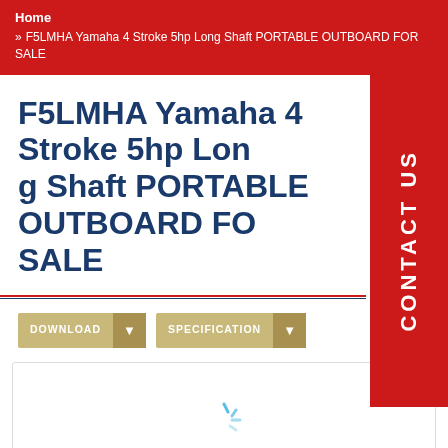Home
» F5LMHA Yamaha 4 Stroke 5hp Long Shaft PORTABLE OUTBOARD FOR SALE
F5LMHA Yamaha 4 Stroke 5hp Long Shaft PORTABLE OUTBOARD FOR SALE
CONTACT US
DOWNLOAD  SPECIFICATION